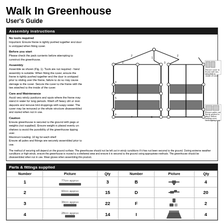Walk In Greenhouse
User's Guide
Assembly instructions
No tools required
Important: Ensure frame is tightly pushed together and door is unzipped when fitting cover.

Before you start
Please check the pack contents before attempting to construct the greenhouse.

Assembly
Assemble as shown (Fig. 1). Tools are not required - hand assembly is suitable. When fitting the cover, ensure the frame is tightly pushed together and the door is unzipped prior to sliding over the frame, failure to do so may cause damage to the cover. Secure the cover to the frame with the ties attached to the inside of the cover.

Care and Maintenance
Avoid very windy positions and spots where the frame may stand in water for long periods. Wash off heavy dirt or dust deposits and remove bird droppings with soapy water. The cover may be removed or the whole structure disassembled and stored when not in use.

Caution
Ensure greenhouse is secured to the ground with pegs or weights (not supplied). Ensure weight is placed evenly on shelves to avoid the possibility of the greenhouse tipping over.
Maximum loading: 10 kg for each shelf
Ensure all poles and fittings are securely assembled prior to use.
[Figure (engineering-diagram): Assembly diagram of Walk In Greenhouse showing frame structure, shelves, and detail callouts for securing cover and poles]
The method of securing will depend on the ground surface. The greenhouse should not be left out in windy conditions if it has not been secured to the ground. During extreme weather conditions or high winds, ensure the greenhouse is moved to a sheltered area and ensure it is secured to the ground using appropriate methods. The greenhouse should be disassembled when not in use. Wear gloves when assembling this product.
Parts & fittings supplied
| Number | Picture | Qty | Number | Picture | Qty |
| --- | --- | --- | --- | --- | --- |
| 1 | 77cm approx [bar] | 3 | B | [T-connector icon] | 4 |
| 2 | 60cm approx [bar] | 15 | D | [connector icon] | 20 |
| 3 | 39cm approx [bar] | 22 | F | [connector icon] | 2 |
| 4 | 28cm approx [bar] | 14 | I | [shelf icon] | 4 |